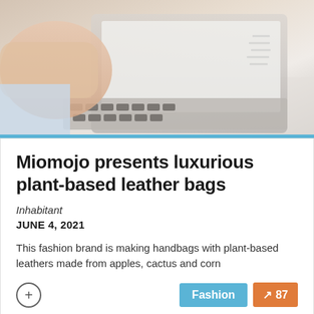[Figure (photo): Person's hand resting on a laptop keyboard, viewed from above, with a document partially visible on the right side. Light blue-grey color tones.]
Miomojo presents luxurious plant-based leather bags
Inhabitant
JUNE 4, 2021
This fashion brand is making handbags with plant-based leathers made from apples, cactus and corn
[Figure (photo): Partial view of a person's profile (head/shoulders) on the left, and a blurred office/work environment on the right.]